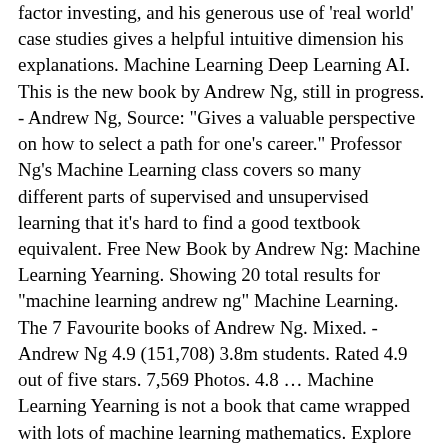factor investing, and his generous use of 'real world' case studies gives a helpful intuitive dimension his explanations. Machine Learning Deep Learning AI. This is the new book by Andrew Ng, still in progress. - Andrew Ng, Source: "Gives a valuable perspective on how to select a path for one's career." Professor Ng's Machine Learning class covers so many different parts of supervised and unsupervised learning that it's hard to find a good textbook equivalent. Free New Book by Andrew Ng: Machine Learning Yearning. Showing 20 total results for "machine learning andrew ng" Machine Learning. The 7 Favourite books of Andrew Ng. Mixed. - Andrew Ng 4.9 (151,708) 3.8m students. Rated 4.9 out of five stars. 7,569 Photos. 4.8 … Machine Learning Yearning is not a book that came wrapped with lots of machine learning mathematics. Explore Andrew Ng's 7,569 photos on Flickr! Andrew Ng was born on April 18, 1976, in London, United Kingdom. The price of his book is $5.99 (Kindle version) and $2.99 (Kindle version), res… Class Videos: Current quarter's class videos are available here for SCPD students and here for non-SCPD students. @ayn. - Andrew Ng, Source: "Gives an overview of entrepreneurship and innovation." Andrew Ng is one of th e world's best known AI experts. Andrew Ng has quite the modern resume.. Andrew Ng. 00. In statistics, it … Find books Deep Learning. 14 Life-Changing Books That Andrew Ng from Coursera Recommends Technology We are going to list some of the best books that Andrew Ng suggests every Data Scientist, Machine Learning Engineer, Artificial Intelligence enthusiast to